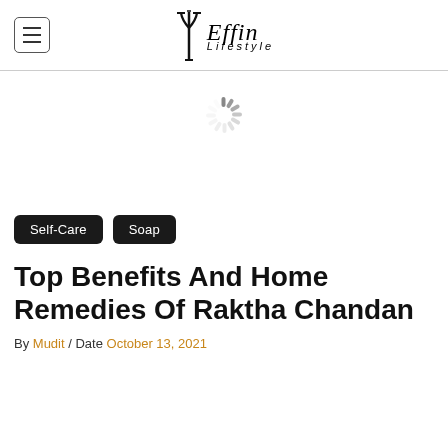Effin Lifestyle
[Figure (other): Loading spinner icon (circular dashed spinner graphic)]
Self-Care  Soap
Top Benefits And Home Remedies Of Raktha Chandan
By Mudit / Date October 13, 2021